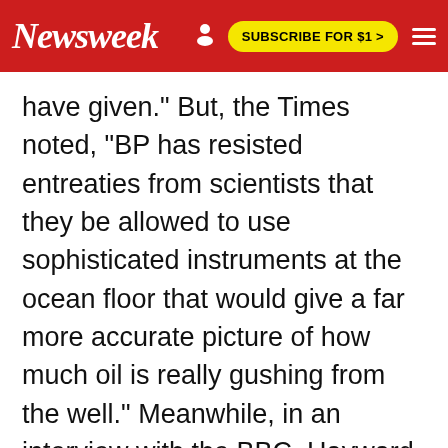Newsweek  SUBSCRIBE FOR $1 >
have given." But, the Times noted, "BP has resisted entreaties from scientists that they be allowed to use sophisticated instruments at the ocean floor that would give a far more accurate picture of how much oil is really gushing from the well." Meanwhile, in an interview with the BBC, Hayward was saying: "it's not possible to measure the flow from the leak."